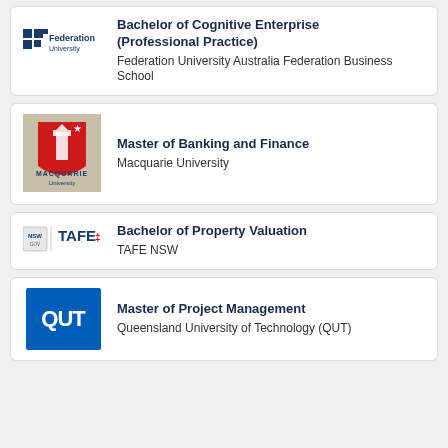[Figure (logo): Federation University logo with blue squares grid and text]
Bachelor of Cognitive Enterprise (Professional Practice)
Federation University Australia Federation Business School
[Figure (logo): Macquarie University logo with lighthouse on red shield and text]
Master of Banking and Finance
Macquarie University
[Figure (logo): TAFE NSW logo with NSW state emblem and TAFE text]
Bachelor of Property Valuation
TAFE NSW
[Figure (logo): QUT logo blue square with white QUT text]
Master of Project Management
Queensland University of Technology (QUT)